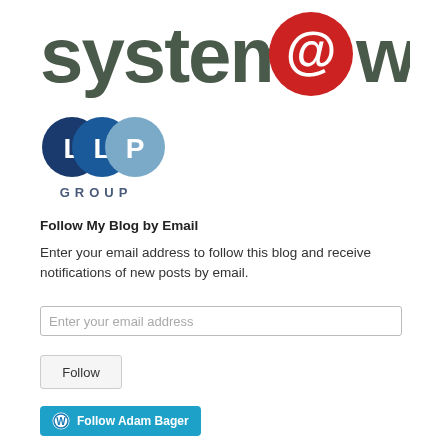[Figure (logo): systems@work logo with red circular @ symbol and dark gray text]
[Figure (logo): LLP GROUP logo with overlapping blue circles containing L, L, P letters and GROUP text below]
Follow My Blog by Email
Enter your email address to follow this blog and receive notifications of new posts by email.
Enter your email address
Follow
Follow Adam Bager